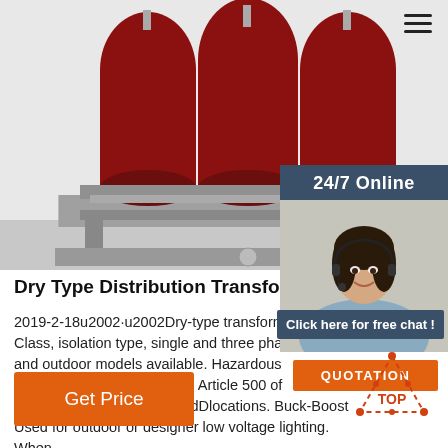[Figure (photo): Dry-type distribution transformer with three red cylindrical coils on a metal frame base, photographed from the front]
Dry Type Distribution Transformers - Eme
2019-2-18u2002·u2002Dry-type transformers Class, isolation type, single and three phase, and outdoor models available. Hazardous (Encapsulated) Comply with Article 500 of Class I, Division 2, A,B,CandDlocations. Buck-Boost Used for outdoor or designer low voltage lighting. When
Get Price